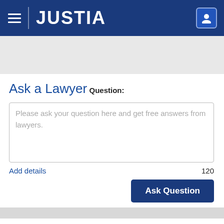JUSTIA
Ask a Lawyer
Question:
Please ask your question here and get free answers from lawyers.
Add details
120
Ask Question
Find a Lawyer